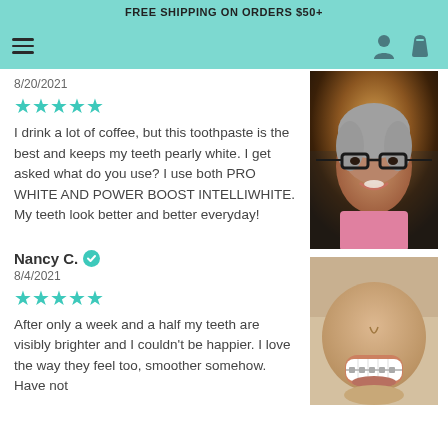FREE SHIPPING ON ORDERS $50+
8/20/2021
[Figure (other): Five teal stars rating]
I drink a lot of coffee, but this toothpaste is the best and keeps my teeth pearly white. I get asked what do you use? I use both PRO WHITE AND POWER BOOST INTELLIWHITE. My teeth look better and better everyday!
[Figure (photo): Smiling elderly woman with grey hair and black glasses, outdoor background]
Nancy C. ✓
8/4/2021
[Figure (other): Five teal stars rating]
After only a week and a half my teeth are visibly brighter and I couldn't be happier. I love the way they feel too, smoother somehow. Have not
[Figure (photo): Close-up of smiling mouth showing white teeth with braces]